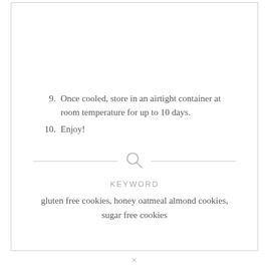9. Once cooled, store in an airtight container at room temperature for up to 10 days.
10. Enjoy!
[Figure (other): Search icon (magnifying glass) used as a section divider with horizontal lines on each side]
KEYWORD
gluten free cookies, honey oatmeal almond cookies, sugar free cookies